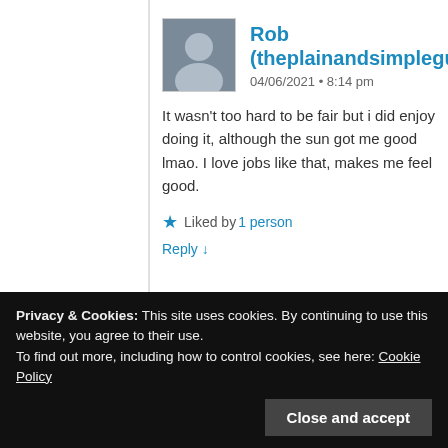Rob (theplainandsimpleguy)
04/06/2021 • 8:14 pm
It wasn't too hard to be fair but i did enjoy doing it, although the sun got me good lmao. I love jobs like that, makes me feel good.
★ Liked by 1 person
Reply ↓
windsofchange18
04/06/2021 • 8:19 pm
Privacy & Cookies: This site uses cookies. By continuing to use this website, you agree to their use.
To find out more, including how to control cookies, see here: Cookie Policy
Close and accept